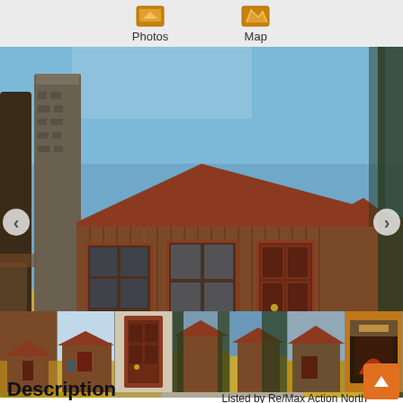Photos   Map
[Figure (photo): Exterior photo of a rustic wood-sided cabin with a red metal roof, stone chimney, and surrounding pine trees. Navigation arrows on left and right sides.]
[Figure (photo): Thumbnail strip showing 7 smaller photos of the same property from various angles including exterior, interior door, and fireplace.]
Listed by Re/Max Action North
Description